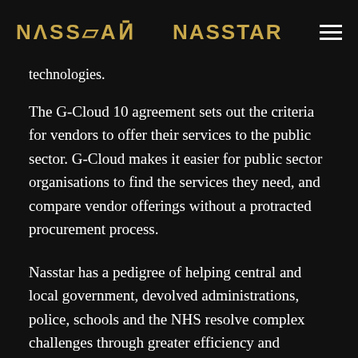NASSTAR
technologies.
The G-Cloud 10 agreement sets out the criteria for vendors to offer their services to the public sector. G-Cloud makes it easier for public sector organisations to find the services they need, and compare vendor offerings without a protracted procurement process.
Nasstar has a pedigree of helping central and local government, devolved administrations, police, schools and the NHS resolve complex challenges through greater efficiency and improved connectivity.